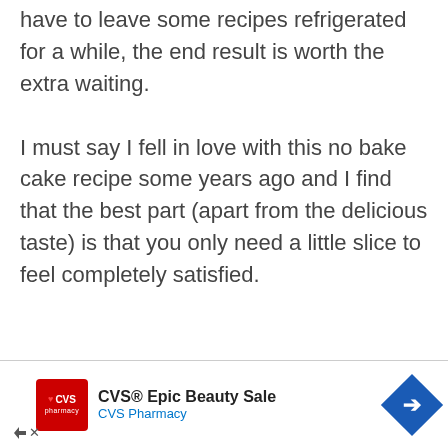have to leave some recipes refrigerated for a while, the end result is worth the extra waiting.

I must say I fell in love with this no bake cake recipe some years ago and I find that the best part (apart from the delicious taste) is that you only need a little slice to feel completely satisfied.
[Figure (other): CVS Pharmacy advertisement banner at bottom of page. Shows CVS Pharmacy logo, 'CVS® Epic Beauty Sale' text, and a blue diamond-shaped arrow icon.]